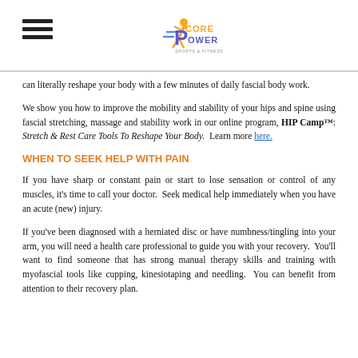Core Power Sports & Fitness logo and menu
can literally reshape your body with a few minutes of daily fascial body work.
We show you how to improve the mobility and stability of your hips and spine using fascial stretching, massage and stability work in our online program, HIP Camp™: Stretch & Rest Care Tools To Reshape Your Body.  Learn more here.
WHEN TO SEEK HELP WITH PAIN
If you have sharp or constant pain or start to lose sensation or control of any muscles, it's time to call your doctor.  Seek medical help immediately when you have an acute (new) injury.
If you've been diagnosed with a herniated disc or have numbness/tingling into your arm, you will need a health care professional to guide you with your recovery.  You'll want to find someone that has strong manual therapy skills and training with myofascial tools like cupping, kinesiotaping and needling.  You can benefit from attention to their recovery plan.